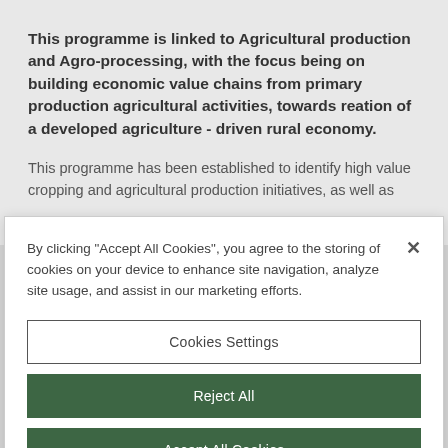This programme is linked to Agricultural production and Agro-processing, with the focus being on building economic value chains from primary production agricultural activities, towards reation of a developed agriculture - driven rural economy.
This programme has been established to identify high value cropping and agricultural production initiatives, as well as
By clicking "Accept All Cookies", you agree to the storing of cookies on your device to enhance site navigation, analyze site usage, and assist in our marketing efforts.
Cookies Settings
Reject All
Accept All Cookies